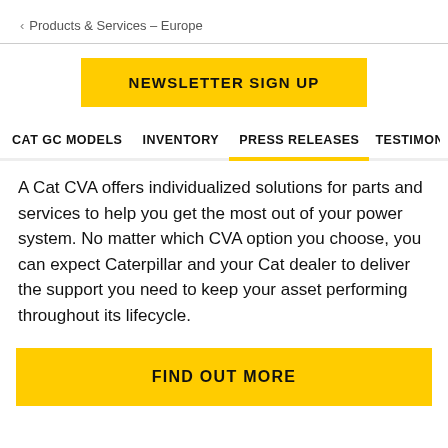< Products & Services – Europe
NEWSLETTER SIGN UP
CAT GC MODELS   INVENTORY   PRESS RELEASES   TESTIMON
A Cat CVA offers individualized solutions for parts and services to help you get the most out of your power system. No matter which CVA option you choose, you can expect Caterpillar and your Cat dealer to deliver the support you need to keep your asset performing throughout its lifecycle.
FIND OUT MORE